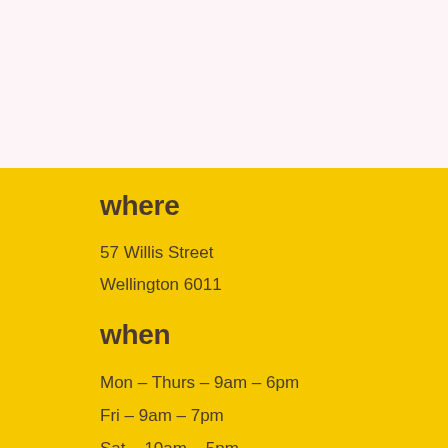where
57 Willis Street
Wellington 6011
when
Mon – Thurs –  9am – 6pm
Fri –  9am – 7pm
Sat –  10am – 5pm
Sun –  10am – 5pm